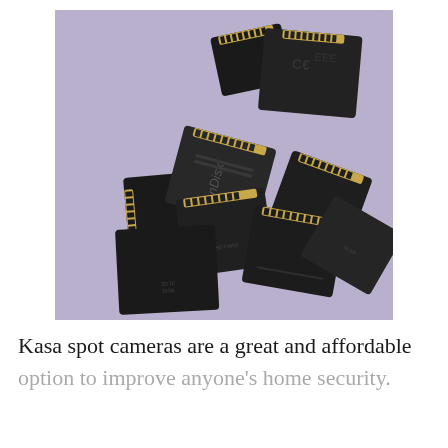[Figure (photo): Multiple black SD memory cards scattered on a purple/lavender background, showing the gold contact pins on their backs. Cards include SanDisk branded cards among others.]
Kasa spot cameras are a great and affordable option to improve anyone's home security.